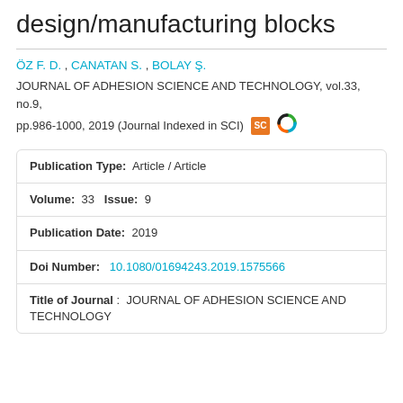design/manufacturing blocks
ÖZ F. D. , CANATAN S. , BOLAY Ş.
JOURNAL OF ADHESION SCIENCE AND TECHNOLOGY, vol.33, no.9, pp.986-1000, 2019 (Journal Indexed in SCI)
| Publication Type: | Article / Article |
| Volume: | 33   Issue:  9 |
| Publication Date: | 2019 |
| Doi Number: | 10.1080/01694243.2019.1575566 |
| Title of Journal: | JOURNAL OF ADHESION SCIENCE AND TECHNOLOGY |